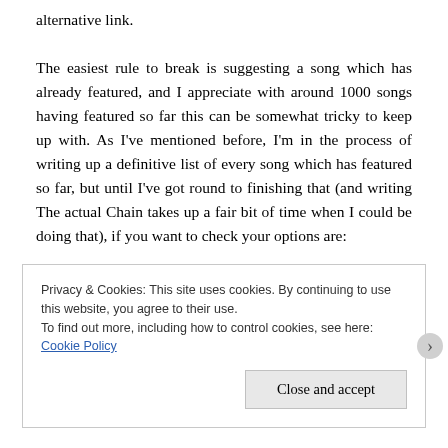alternative link.
The easiest rule to break is suggesting a song which has already featured, and I appreciate with around 1000 songs having featured so far this can be somewhat tricky to keep up with. As I've mentioned before, I'm in the process of writing up a definitive list of every song which has featured so far, but until I've got round to finishing that (and writing The actual Chain takes up a fair bit of time when I could be doing that), if you want to check your options are:
Privacy & Cookies: This site uses cookies. By continuing to use this website, you agree to their use.
To find out more, including how to control cookies, see here: Cookie Policy
Close and accept